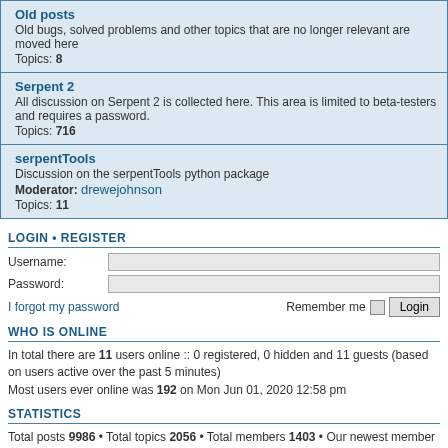Old posts
Old bugs, solved problems and other topics that are no longer relevant are moved here
Topics: 8
Serpent 2
All discussion on Serpent 2 is collected here. This area is limited to beta-testers and requires a password.
Topics: 716
serpentTools
Discussion on the serpentTools python package
Moderator: drewejohnson
Topics: 11
LOGIN • REGISTER
Username:
Password:
I forgot my password
Remember me  Login
WHO IS ONLINE
In total there are 11 users online :: 0 registered, 0 hidden and 11 guests (based on users active over the past 5 minutes)
Most users ever online was 192 on Mon Jun 01, 2020 12:58 pm
STATISTICS
Total posts 9986 • Total topics 2056 • Total members 1403 • Our newest member bridgewater